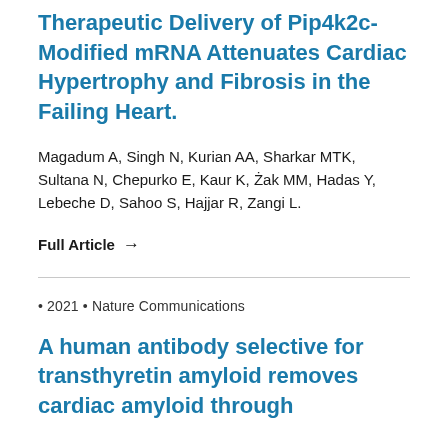Therapeutic Delivery of Pip4k2c-Modified mRNA Attenuates Cardiac Hypertrophy and Fibrosis in the Failing Heart.
Magadum A, Singh N, Kurian AA, Sharkar MTK, Sultana N, Chepurko E, Kaur K, Żak MM, Hadas Y, Lebeche D, Sahoo S, Hajjar R, Zangi L.
Full Article →
• 2021 • Nature Communications
A human antibody selective for transthyretin amyloid removes cardiac amyloid through